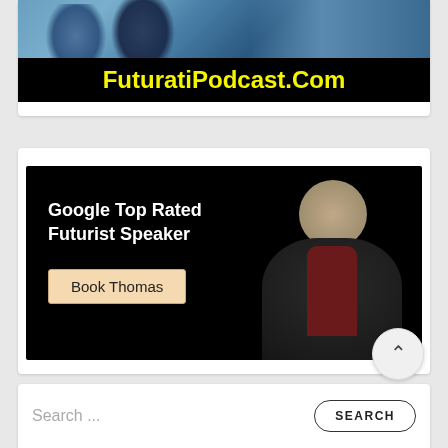[Figure (photo): Podcast banner showing two people in the upper photo strip and bold yellow text 'FuturatiPodcast.Com' on black background]
[Figure (photo): Advertisement banner with black background showing text 'Google Top Rated Futurist Speaker', a 'Book Thomas' button, and a photo of an older man with white beard in a dark blazer]
Search ...
SEARCH